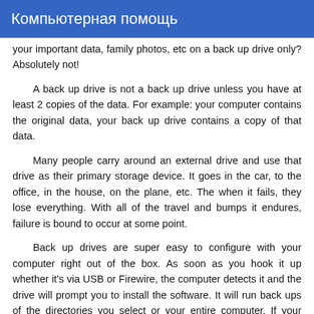Компьютерная помощь
your important data, family photos, etc on a back up drive only? Absolutely not!
A back up drive is not a back up drive unless you have at least 2 copies of the data. For example: your computer contains the original data, your back up drive contains a copy of that data.
Many people carry around an external drive and use that drive as their primary storage device. It goes in the car, to the office, in the house, on the plane, etc. The when it fails, they lose everything. With all of the travel and bumps it endures, failure is bound to occur at some point.
Back up drives are super easy to configure with your computer right out of the box. As soon as you hook it up whether it's via USB or Firewire, the computer detects it and the drive will prompt you to install the software. It will run back ups of the directories you select or your entire computer. If your computer fails, your back up drive contains a copy of everything. If the back up drive fails, it's still on your computer.
Personally, my office contains a MAC Mini with two 1-Terabyte hard drives that are configured to mirror each other automatically.